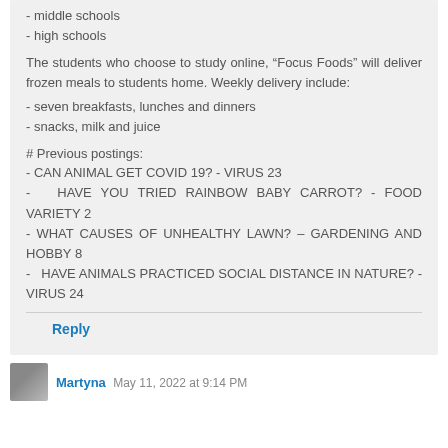- middle schools
- high schools
The students who choose to study online, “Focus Foods” will deliver frozen meals to students home. Weekly delivery include:
- seven breakfasts, lunches and dinners
- snacks, milk and juice
# Previous postings:
- CAN ANIMAL GET COVID 19? - VIRUS 23
-  HAVE YOU TRIED RAINBOW BABY CARROT? - FOOD VARIETY 2
- WHAT CAUSES OF UNHEALTHY LAWN? – GARDENING AND HOBBY 8
-  HAVE ANIMALS PRACTICED SOCIAL DISTANCE IN NATURE? - VIRUS 24
Reply
Martyna  May 11, 2022 at 9:14 PM